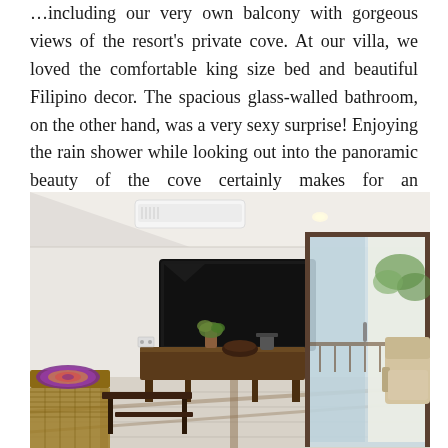…including our very own balcony with gorgeous views of the resort's private cove. At our villa, we loved the comfortable king size bed and beautiful Filipino decor. The spacious glass-walled bathroom, on the other hand, was a very sexy surprise! Enjoying the rain shower while looking out into the panoramic beauty of the cove certainly makes for an unforgettable experience.
[Figure (photo): Interior photo of a modern villa room showing a flat-screen TV mounted on a white wall, air conditioning unit above, a dark wooden media console with plants and items on top, a wicker bench on the left with a colorful throw, a cream armchair on the right, white tiled floor with wooden inlay, and a glass sliding door leading to a bright balcony with green foliage visible outside.]